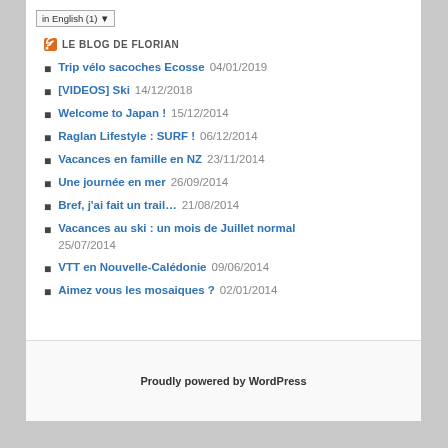in English  (1)
LE BLOG DE FLORIAN
Trip vélo sacoches Ecosse 04/01/2019
[VIDEOS] Ski 14/12/2018
Welcome to Japan ! 15/12/2014
Raglan Lifestyle : SURF ! 06/12/2014
Vacances en famille en NZ 23/11/2014
Une journée en mer 26/09/2014
Bref, j'ai fait un trail… 21/08/2014
Vacances au ski : un mois de Juillet normal 25/07/2014
VTT en Nouvelle-Calédonie 09/06/2014
Aimez vous les mosaiques ? 02/01/2014
Proudly powered by WordPress